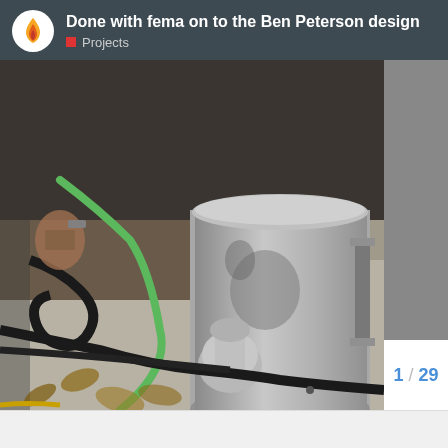Done with fema on to the Ben Peterson design | Projects
[Figure (photo): Outdoor photo showing a cylindrical metal container (possibly a gasifier or stove) with various cables and hoses around it including a green hose, black cables, and a metal elbow fitting. The setting appears to be on a concrete surface with leaves and dirt.]
1 / 29